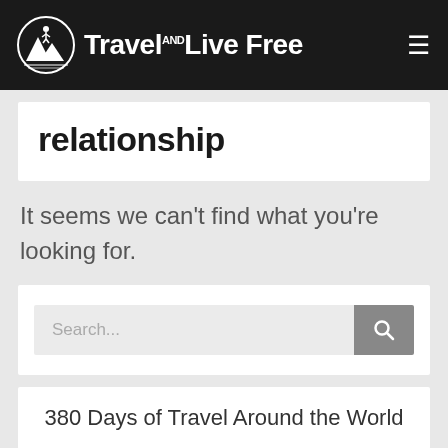[Figure (logo): Travel AND Live Free website header with circular logo icon showing a traveler with mountains, site name 'Travel AND Live Free' in white on black background, and hamburger menu icon]
relationship
It seems we can't find what you're looking for.
[Figure (screenshot): Search input field with placeholder text 'Search...' and a grey search button with magnifying glass icon]
380 Days of Travel Around the World